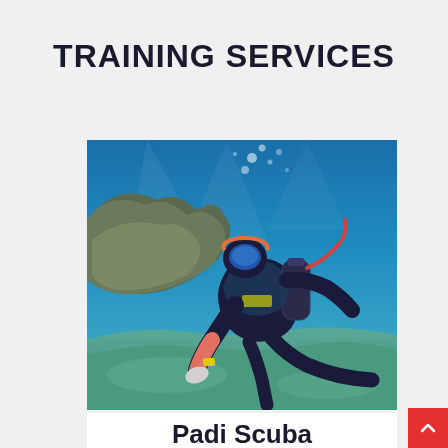TRAINING SERVICES
[Figure (photo): A scuba diver in full diving gear — black wetsuit, blue mask, pink accents on gloves and sleeve, air tank on back — hovering close to the ocean floor near a rocky reef underwater. The water is clear blue and sunlight filters down from above.]
Padi Scuba